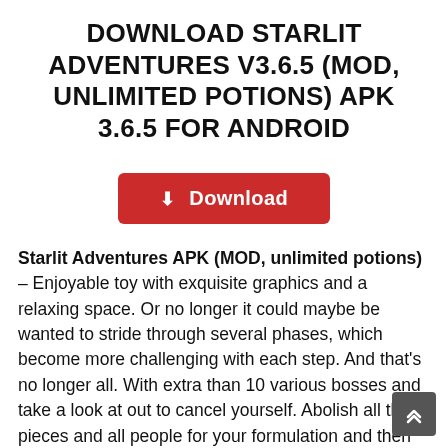DOWNLOAD STARLIT ADVENTURES V3.6.5 (MOD, UNLIMITED POTIONS) APK 3.6.5 FOR ANDROID
[Figure (other): Red download button with download icon and text 'Download']
Starlit Adventures APK (MOD, unlimited potions) – Enjoyable toy with exquisite graphics and a relaxing space. Or no longer it could maybe be wanted to stride through several phases, which become more challenging with each step. And that's no longer all. With extra than 10 various bosses and take a look at out to cancel yourself. Abolish all the pieces and all people for your formulation and then success is for your aspect!